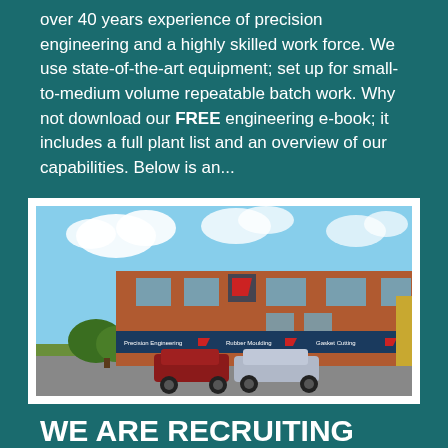over 40 years experience of precision engineering and a highly skilled work force. We use state-of-the-art equipment; set up for small-to-medium volume repeatable batch work. Why not download our FREE engineering e-book; it includes a full plant list and an overview of our capabilities. Below is an...
[Figure (photo): Exterior photograph of an industrial/engineering company building. A two-storey brick building with signage including 'Precision Engineering', 'Rubber Moulding', and 'Gasket Cutting' with a red logo. Cars are parked in the forecourt, blue sky with clouds in the background.]
WE ARE RECRUITING